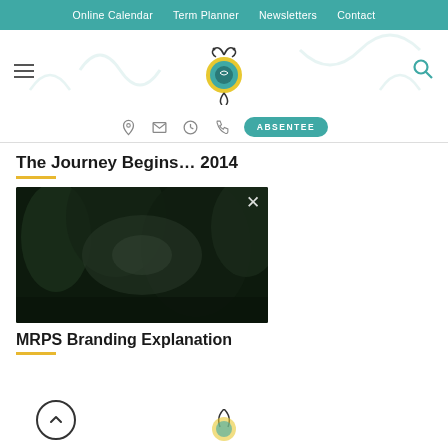Online Calendar  Term Planner  Newsletters  Contact
[Figure (logo): School logo - decorative circular emblem with swirls, yellow and teal colors, hamburger menu icon on left, search icon on right]
[Figure (screenshot): Icon row with location, email, clock, phone icons and teal ABSENTEE button]
The Journey Begins... 2014
[Figure (photo): Dark video thumbnail showing a dimly lit forest or outdoor scene with an X close button in the upper right corner]
MRPS Branding Explanation
[Figure (logo): Partial school logo visible at bottom of page]